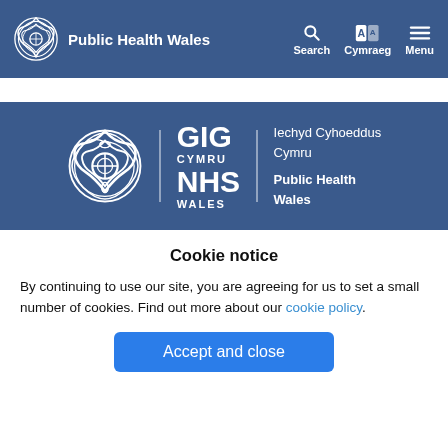Public Health Wales — Search Cymraeg Menu
[Figure (logo): GIG Cymru NHS Wales / Iechyd Cyhoeddus Cymru / Public Health Wales logo on blue banner]
Cookie notice
By continuing to use our site, you are agreeing for us to set a small number of cookies. Find out more about our cookie policy.
Accept and close